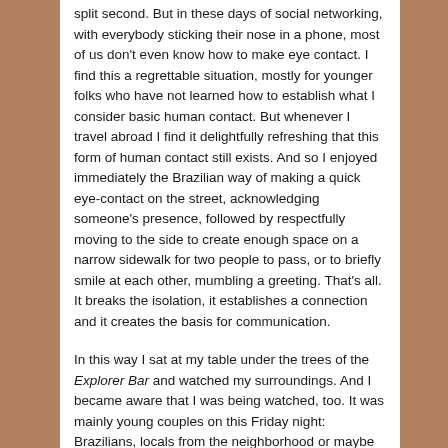split second. But in these days of social networking, with everybody sticking their nose in a phone, most of us don't even know how to make eye contact. I find this a regrettable situation, mostly for younger folks who have not learned how to establish what I consider basic human contact. But whenever I travel abroad I find it delightfully refreshing that this form of human contact still exists. And so I enjoyed immediately the Brazilian way of making a quick eye-contact on the street, acknowledging someone's presence, followed by respectfully moving to the side to create enough space on a narrow sidewalk for two people to pass, or to briefly smile at each other, mumbling a greeting. That's all. It breaks the isolation, it establishes a connection and it creates the basis for communication.

In this way I sat at my table under the trees of the Explorer Bar and watched my surroundings. And I became aware that I was being watched, too. It was mainly young couples on this Friday night: Brazilians, locals from the neighborhood or maybe from some neighborhood close by. Young, fresh faces, no make-up on the girls' faces, but they were all nicely dressed, with a little